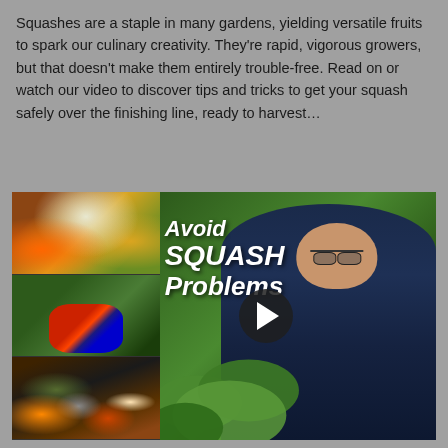Squashes are a staple in many gardens, yielding versatile fruits to spark our culinary creativity. They're rapid, vigorous growers, but that doesn't make them entirely trouble-free. Read on or watch our video to discover tips and tricks to get your squash safely over the finishing line, ready to harvest…
[Figure (screenshot): Video thumbnail for 'Avoid SQUASH Problems' showing a man in a dark sweater gesturing toward squash plants, with three smaller images on the left showing squash fruits, a bug on a leaf, and harvested squashes. A play button is overlaid in the center.]